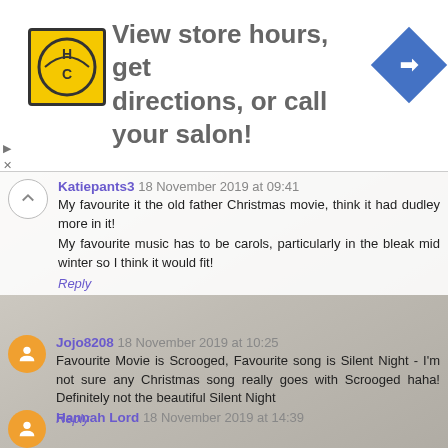[Figure (infographic): Ad banner: HC salon logo, text 'View store hours, get directions, or call your salon!', blue diamond navigation icon]
Katiepants3 18 November 2019 at 09:41
My favourite it the old father Christmas movie, think it had dudley more in it!
My favourite music has to be carols, particularly in the bleak mid winter so I think it would fit!
Reply
Jojo8208 18 November 2019 at 10:25
Favourite Movie is Scrooged, Favourite song is Silent Night - I'm not sure any Christmas song really goes with Scrooged haha! Definitely not the beautiful Silent Night
Reply
Hannah Lord 18 November 2019 at 14:39